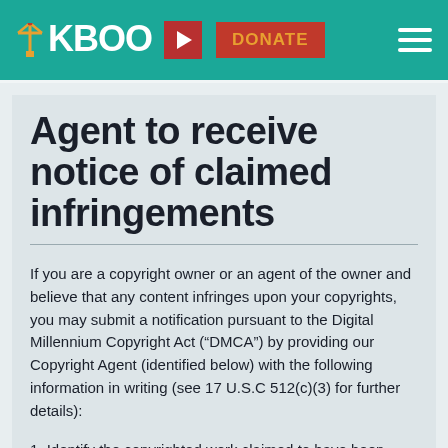KBOO | DONATE
Agent to receive notice of claimed infringements
If you are a copyright owner or an agent of the owner and believe that any content infringes upon your copyrights, you may submit a notification pursuant to the Digital Millennium Copyright Act (“DMCA”) by providing our Copyright Agent (identified below) with the following information in writing (see 17 U.S.C 512(c)(3) for further details):
1. Identify the copyrighted work claimed to have been infringed, or, if multiple copyrighted works are covered by a single notification,